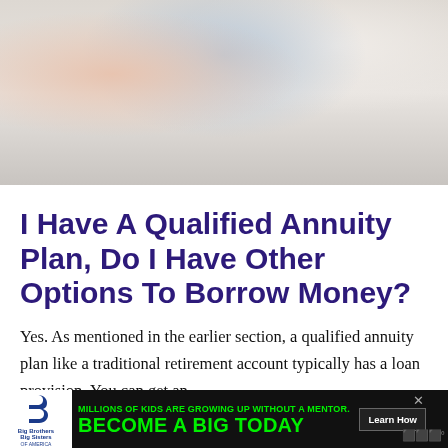[Figure (photo): Overhead view of three people sitting around a white table at a meeting, reviewing documents. Two women and one man visible.]
I Have A Qualified Annuity Plan, Do I Have Other Options To Borrow Money?
Yes. As mentioned in the earlier section, a qualified annuity plan like a traditional retirement account typically has a loan provision. You can get an
[Figure (other): Advertisement banner: Big Brothers Big Sisters logo on left, green text reading 'MILLIONS OF KIDS ARE GROWING UP WITHOUT A MENTOR. BECOME A BIG TODAY' with a 'Learn How' button on black background.]